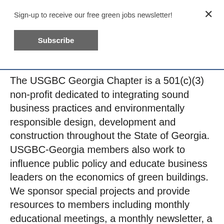Sign-up to receive our free green jobs newsletter!
Subscribe
The USGBC Georgia Chapter is a 501(c)(3) non-profit dedicated to integrating sound business practices and environmentally responsible design, development and construction throughout the State of Georgia.  USGBC-Georgia members also work to influence public policy and educate business leaders on the economics of green buildings. We sponsor special projects and provide resources to members including monthly educational meetings, a monthly newsletter, a robust network of green building professionals, training and